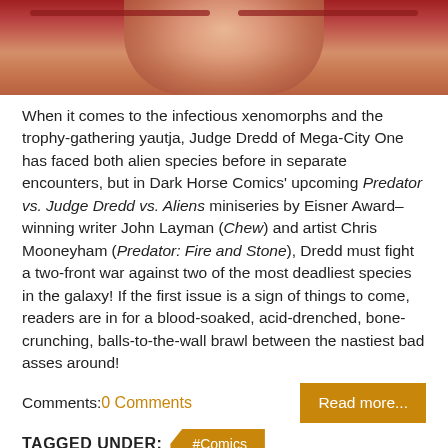[Figure (photo): Close-up illustration of a character face, likely Judge Dredd, with red helmet/uniform, showing chin and lower face]
When it comes to the infectious xenomorphs and the trophy-gathering yautja, Judge Dredd of Mega-City One has faced both alien species before in separate encounters, but in Dark Horse Comics' upcoming Predator vs. Judge Dredd vs. Aliens miniseries by Eisner Award–winning writer John Layman (Chew) and artist Chris Mooneyham (Predator: Fire and Stone), Dredd must fight a two-front war against two of the most deadliest species in the galaxy! If the first issue is a sign of things to come, readers are in for a blood-soaked, acid-drenched, bone-crunching, balls-to-the-wall brawl between the nastiest bad asses around!
Comments: 0 Comments
Read more...
TAGGED UNDER: #Comics
Go to top